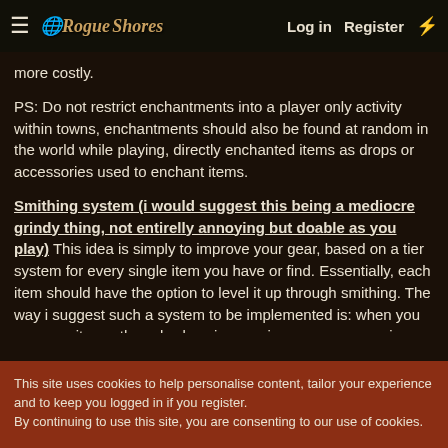≡ [Logo: Rogue Shores] Log in Register ⚡
more costly.
PS: Do not restrict enchantments into a player only activity within towns, enchantments should also be found at random in the world while playing, directly enchanted items as drops or accessories used to enchant items.
Smithing system (i would suggest this being a mediocre grindy thing, not entirelly annoying but doable as you play) This idea is simply to improve your gear, based on a tier system for every single item you have or find. Essentially, each item should have the option to level it up through smithing. The way i suggest such a system to be implemented is: when you use your items, they slowly gain experience, every once in a
This site uses cookies to help personalise content, tailor your experience and to keep you logged in if you register.
By continuing to use this site, you are consenting to our use of cookies.